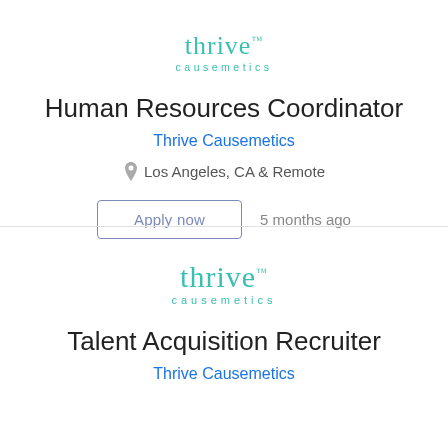[Figure (logo): Thrive Causemetics logo, teal/turquoise text, first listing]
Human Resources Coordinator
Thrive Causemetics
Los Angeles, CA & Remote
Apply now   5 months ago
[Figure (logo): Thrive Causemetics logo, teal/turquoise text, second listing]
Talent Acquisition Recruiter
Thrive Causemetics